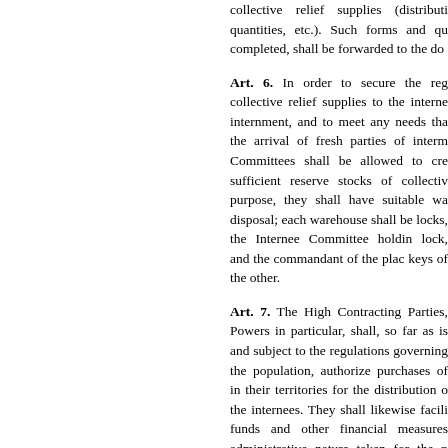collective relief supplies (distributi quantities, etc.). Such forms and qu completed, shall be forwarded to the do
Art. 6. In order to secure the reg collective relief supplies to the interne internment, and to meet any needs tha the arrival of fresh parties of interm Committees shall be allowed to cre sufficient reserve stocks of collectiv purpose, they shall have suitable wa disposal; each warehouse shall be locks, the Internee Committee holdin lock, and the commandant of the plac keys of the other.
Art. 7. The High Contracting Parties, Powers in particular, shall, so far as is and subject to the regulations governing the population, authorize purchases of in their territories for the distribution o the internees. They shall likewise facili funds and other financial measures administrative nature taken for the p such purchases.
Art. 8. The foregoing provisions sha obstacle to the right of internees to rec before their arrival in a place of internm of their transfer, nor to the possibility o